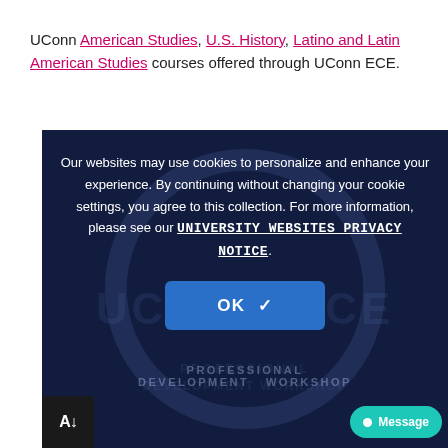UConn American Studies, U.S. History, Latino and Latin American Studies courses offered through UConn ECE.
[Figure (screenshot): Cookie consent overlay on a dark navy background with UConn ECE watermark logo. Contains cookie notice text, a UNIVERSITY WEBSITES PRIVACY NOTICE link, and an OK button. Bottom left shows an AI badge. Bottom right shows a teal Message button.]